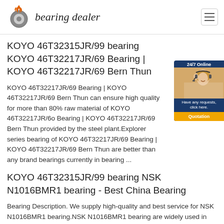bearing dealer
KOYO 46T32315JR/99 bearing KOYO 46T32217JR/69 Bearing | KOYO 46T32217JR/69 Bern Thun
KOYO 46T32217JR/69 Bearing | KOYO 46T32217JR/69 Bern Thun can ensure high quality for more than 80% raw material of KOYO 46T32217JR/69 Bearing | KOYO 46T32217JR/69 Bern Thun provided by the steel plant.Explorer series bearing of KOYO 46T32217JR/69 Bearing | KOYO 46T32217JR/69 Bern Thun are better than any brand bearings currently in bearing ...
KOYO 46T32315JR/99 bearing NSK N1016BMR1 bearing - Best China Bearing
Bearing Description. We supply high-quality and best service for NSK N1016BMR1 bearing.NSK N1016BMR1 bearing are widely used in motor,